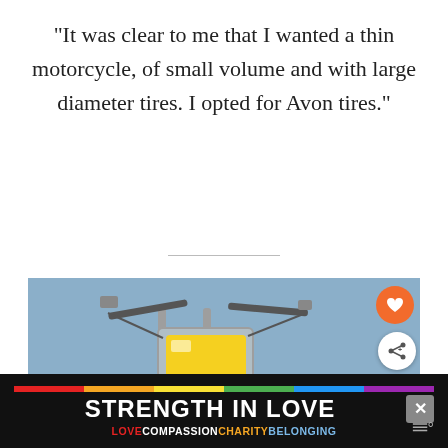“It was clear to me that I wanted a thin motorcycle, of small volume and with large diameter tires. I opted for Avon tires.”
[Figure (photo): Close-up photo of a custom motorcycle front end with a yellow square headlight, handlebars, chrome forks, and a light blue/grey tank with yellow script lettering. Sky blue background. Overlaid UI elements including a heart (favorite) button, share button, and a 'What's Next' card showing a 1974 Yamaha TZ750 Drag...]
[Figure (infographic): Advertisement banner: 'STRENGTH IN LOVE' in white bold text on black background with a rainbow stripe. Below: LOVE COMPASSION CHARITY BELONGING in colored text.]